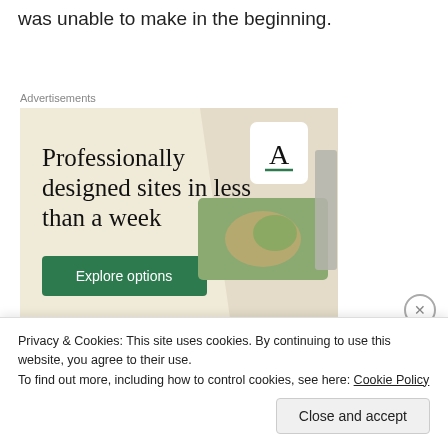was unable to make in the beginning.
Advertisements
[Figure (illustration): Advertisement banner for a web design service. Beige/cream background with large serif headline text 'Professionally designed sites in less than a week', a green 'Explore options' button, and a collage of device/website mockup images on the right side.]
Privacy & Cookies: This site uses cookies. By continuing to use this website, you agree to their use.
To find out more, including how to control cookies, see here: Cookie Policy
Close and accept